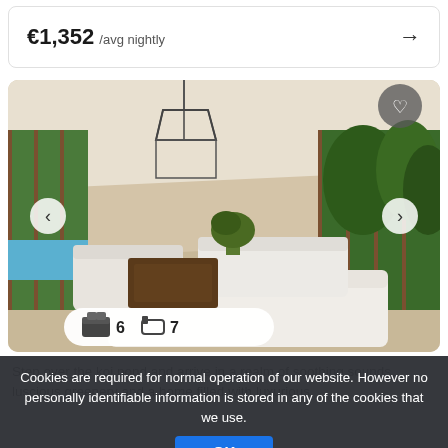€1,352 /avg nightly →
[Figure (photo): Luxury villa interior showing open-plan living room with large floor-to-ceiling glass doors/windows, white sofas, tropical garden view with palm trees, swimming pool visible on the left, pendant chandelier, with bedroom count 6 and bathroom count 7 badge overlaid.]
Cookies are required for normal operation of our website. However no personally identifiable information is stored in any of the cookies that we use.
Step over the koi pond and arrive in a realm of soothing sounds, luscious greenery and a home filled with luxurious